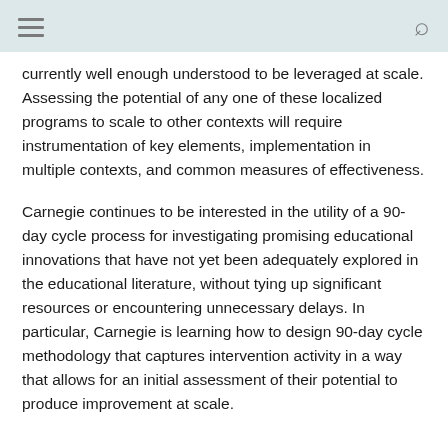currently well enough understood to be leveraged at scale. Assessing the potential of any one of these localized programs to scale to other contexts will require instrumentation of key elements, implementation in multiple contexts, and common measures of effectiveness.
Carnegie continues to be interested in the utility of a 90-day cycle process for investigating promising educational innovations that have not yet been adequately explored in the educational literature, without tying up significant resources or encountering unnecessary delays. In particular, Carnegie is learning how to design 90-day cycle methodology that captures intervention activity in a way that allows for an initial assessment of their potential to produce improvement at scale.